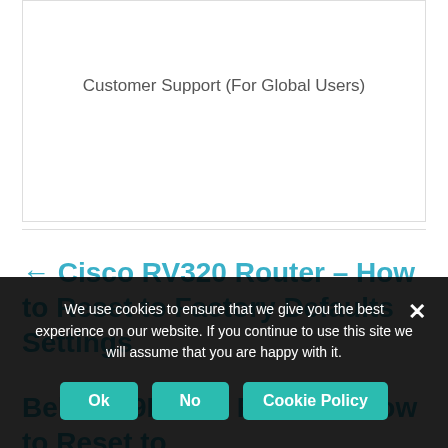Customer Support (For Global Users)
← Cisco RV320 Router – How to Reset to Factory Defaults Settings
Belkin F9K1110 Router – How to Reset to
We use cookies to ensure that we give you the best experience on our website. If you continue to use this site we will assume that you are happy with it.